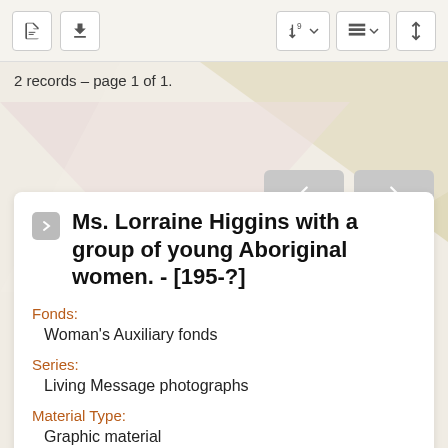2 records – page 1 of 1.
Ms. Lorraine Higgins with a group of young Aboriginal women. - [195-?]
Fonds:
Woman's Auxiliary fonds
Series:
Living Message photographs
Material Type:
Graphic material
Description Level:
Item